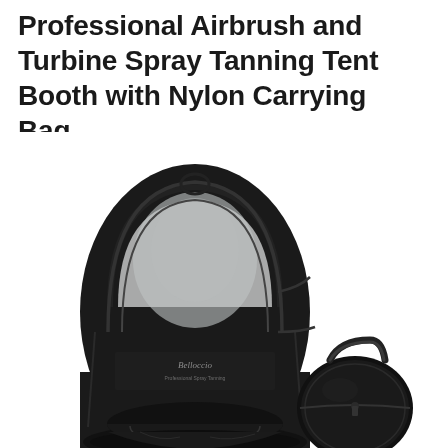Professional Airbrush and Turbine Spray Tanning Tent Booth with Nylon Carrying Bag
[Figure (photo): A black pop-up spray tanning tent booth with a clear transparent window panel at the top, black fabric body with a Belloccio brand label in the middle, curved frame construction, foot opening at the bottom, and a compact round black nylon carrying bag with handle shown to the right of the tent.]